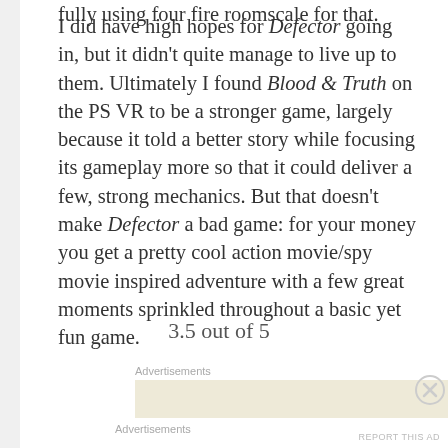I did have high hopes for Defector going in, but it didn't quite manage to live up to them. Ultimately I found Blood & Truth on the PS VR to be a stronger game, largely because it told a better story while focusing its gameplay more so that it could deliver a few, strong mechanics. But that doesn't make Defector a bad game: for your money you get a pretty cool action movie/spy movie inspired adventure with a few great moments sprinkled throughout a basic yet fun game.
3.5 out of 5
Advertisements
Advertisements
REPORT THIS AD